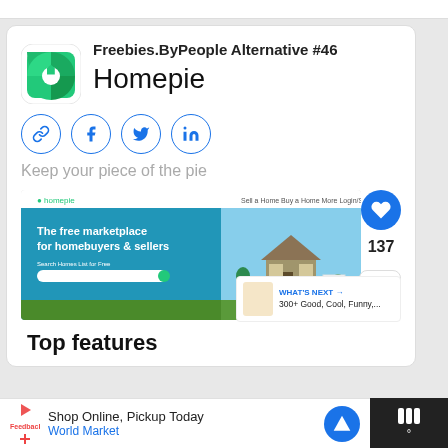Freebies.ByPeople Alternative #46
Homepie
Keep your piece of the pie
[Figure (screenshot): Screenshot of Homepie website showing 'The free marketplace for homebuyers & sellers' with a hero image of a house]
137
WHAT'S NEXT → 300+ Good, Cool, Funny,...
Top features
Shop Online, Pickup Today World Market